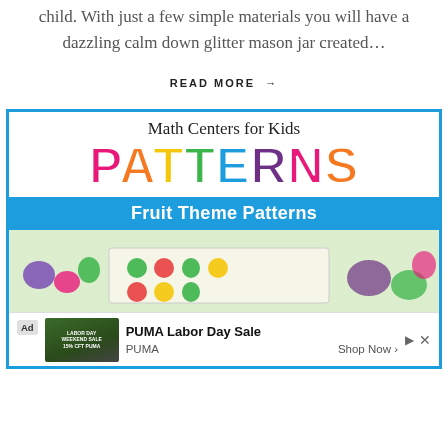child. With just a few simple materials you will have a dazzling calm down glitter mason jar created…
READ MORE →
[Figure (illustration): Educational advertisement banner for 'Math Centers for Kids PATTERNS - Fruit Theme Patterns' with colorful rainbow lettering, blue banner, and a photo of fruit-shaped manipulatives on a worksheet]
[Figure (other): PUMA Labor Day Sale advertisement overlay at the bottom of the page showing a product image, 'Ad' label, headline 'PUMA Labor Day Sale', source 'PUMA', and 'Shop Now >' button]